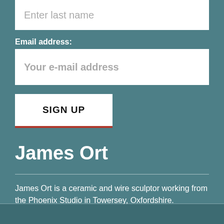Enter last name
Email address:
Your e-mail address
SIGN UP
James Ort
James Ort is a ceramic and wire sculptor working from the Phoenix Studio in Towersey, Oxfordshire.